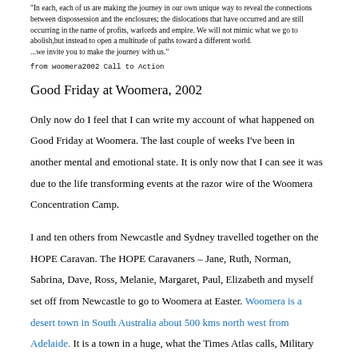"In each, each of us are making the journey in our own unique way to reveal the connections between dispossession and the enclosures; the dislocations that have occurred and are still occurring in the name of profits, warlords and empire. We will not mimic what we go to abolish,but instead to open a multitude of paths toward a different world. ...we invite you to make the journey with us."
from woomera2002 Call to Action
Good Friday at Woomera, 2002
Only now do I feel that I can write my account of what happened on Good Friday at Woomera. The last couple of weeks I've been in another mental and emotional state. It is only now that I can see it was due to the life transforming events at the razor wire of the Woomera Concentration Camp.
I and ten others from Newcastle and Sydney travelled together on the HOPE Caravan. The HOPE Caravaners – Jane, Ruth, Norman, Sabrina, Dave, Ross, Melanie, Margaret, Paul, Elizabeth and myself  set off from Newcastle to go to Woomera at Easter. Woomera is a desert town in South Australia about 500 kms north west from Adelaide. It is a town in a huge, what the Times Atlas calls, Military Prohibited Area which covers about 200,000 square kilometers. Woomera is also near Maralinga, the only place in Australia